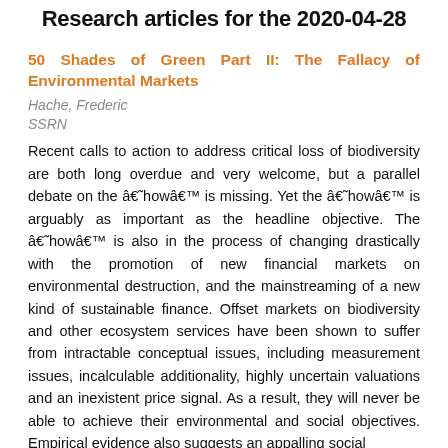Research articles for the 2020-04-28
50 Shades of Green Part II: The Fallacy of Environmental Markets
Hache, Frederic
SSRN
Recent calls to action to address critical loss of biodiversity are both long overdue and very welcome, but a parallel debate on the â€˜howâ€™ is missing. Yet the â€˜howâ€™ is arguably as important as the headline objective. The â€˜howâ€™ is also in the process of changing drastically with the promotion of new financial markets on environmental destruction, and the mainstreaming of a new kind of sustainable finance. Offset markets on biodiversity and other ecosystem services have been shown to suffer from intractable conceptual issues, including measurement issues, incalculable additionality, highly uncertain valuations and an inexistent price signal. As a result, they will never be able to achieve their environmental and social objectives. Empirical evidence also suggests an appalling social